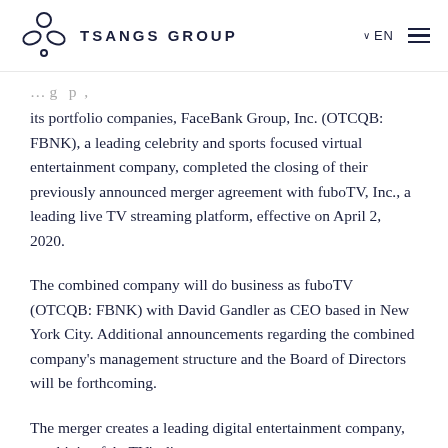TSANGS GROUP | EN
its portfolio companies, FaceBank Group, Inc. (OTCQB: FBNK), a leading celebrity and sports focused virtual entertainment company, completed the closing of their previously announced merger agreement with fuboTV, Inc., a leading live TV streaming platform, effective on April 2, 2020.
The combined company will do business as fuboTV (OTCQB: FBNK) with David Gandler as CEO based in New York City. Additional announcements regarding the combined company's management structure and the Board of Directors will be forthcoming.
The merger creates a leading digital entertainment company, combining fuboTV's direct-toconsumer